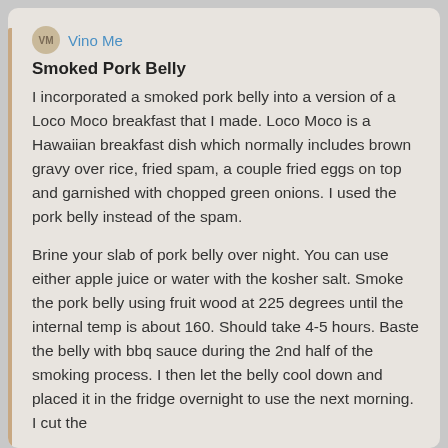VM Vino Me
Smoked Pork Belly
I incorporated a smoked pork belly into a version of a Loco Moco breakfast that I made. Loco Moco is a Hawaiian breakfast dish which normally includes brown gravy over rice, fried spam, a couple fried eggs on top and garnished with chopped green onions. I used the pork belly instead of the spam.
Brine your slab of pork belly over night. You can use either apple juice or water with the kosher salt. Smoke the pork belly using fruit wood at 225 degrees until the internal temp is about 160. Should take 4-5 hours. Baste the belly with bbq sauce during the 2nd half of the smoking process. I then let the belly cool down and placed it in the fridge overnight to use the next morning. I cut the